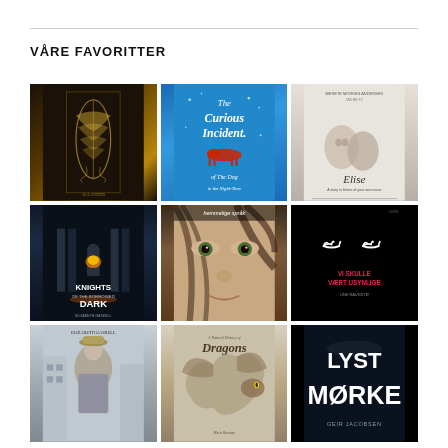VÅRE FAVORITTER
[Figure (photo): 3x3 grid of book covers: The Strange and Beautiful Sorrows of Ava Lavender, The Curious Incident of the Dog in the Night-Time, Elise (Merete Morken Andersen), Knights of the Borrowed Dark (Elizabeth Gaskell), Hemmelige Språk (girl's face close-up), Vi skulle vært usynlige (black cover with eyelash icon), Elizabeth Gaskell period drama cover, A Natural History of Dragons, Lyst Mørke (Geir Jacobsen)]